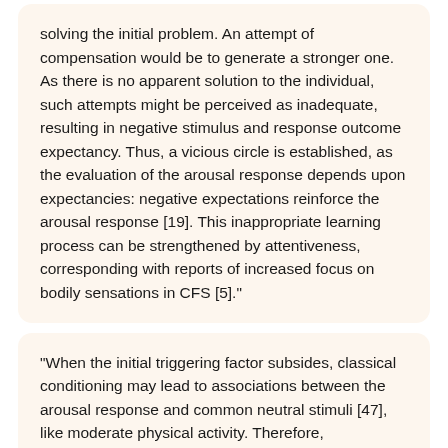solving the initial problem. An attempt of compensation would be to generate a stronger one. As there is no apparent solution to the individual, such attempts might be perceived as inadequate, resulting in negative stimulus and response outcome expectancy. Thus, a vicious circle is established, as the evaluation of the arousal response depends upon expectancies: negative expectations reinforce the arousal response [19]. This inappropriate learning process can be strengthened by attentiveness, corresponding with reports of increased focus on bodily sensations in CFS [5]."
"When the initial triggering factor subsides, classical conditioning may lead to associations between the arousal response and common neutral stimuli [47], like moderate physical activity. Therefore, inappropriate arousal may be precipitated in numerous situations."
"Prolonged arousal has a negative influence on memory and information processing [60]. Similar cognitive dysfunctions are found among CFS patients [17,18], giving…